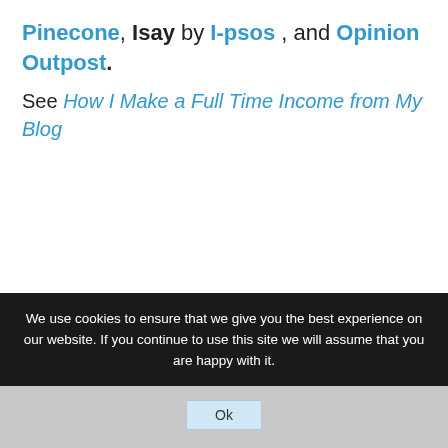Pinecone, Isay by I-psos , and Opinion Outpost.
See How I Make a Full Time Income from My Blog
Surviving may seem tough, but it can be done if you have
We use cookies to ensure that we give you the best experience on our website. If you continue to use this site we will assume that you are happy with it.
Ok